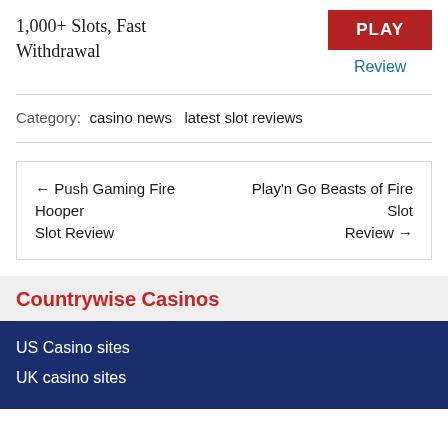1,000+ Slots, Fast Withdrawal
PLAY
Review
Category: casino news  latest slot reviews
← Push Gaming Fire Hooper Slot Review
Play'n Go Beasts of Fire Slot Review →
Countrywise Casinos
US Casino sites
UK casino sites